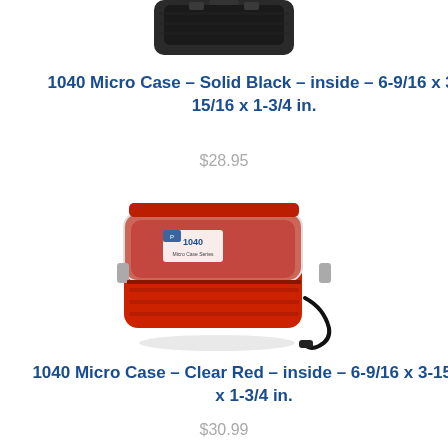[Figure (photo): Pelican 1040 Micro Case in Solid Black, partially visible at top of page]
1040 Micro Case – Solid Black – inside – 6-9/16 x 3-15/16 x 1-3/4 in.
$28.95
[Figure (photo): Pelican 1040 Micro Case with clear top and red body, with black wrist strap]
1040 Micro Case – Clear Red – inside – 6-9/16 x 3-15/16 x 1-3/4 in.
$30.99